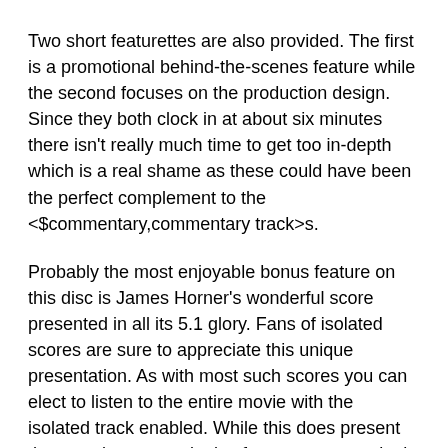Two short featurettes are also provided. The first is a promotional behind-the-scenes feature while the second focuses on the production design. Since they both clock in at about six minutes there isn't really much time to get too in-depth which is a real shame as these could have been the perfect complement to the <$commentary,commentary track>s.
Probably the most enjoyable bonus feature on this disc is James Horner's wonderful score presented in all its 5.1 glory. Fans of isolated scores are sure to appreciate this unique presentation. As with most such scores you can elect to listen to the entire movie with the isolated track enabled. While this does present the complete score, it also features a great deal of dead air in which no music is accompanying the action on screen. As a nice alternative, the DVD offers a menu with ten track selections that, when selected, jump directly to specific musical pieces within the film. I found this feature to be quite useful and wish that more DVDs with isolated scores made use of it